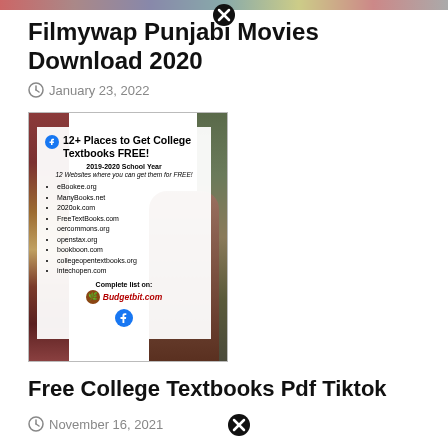[Figure (screenshot): Top colored strip/banner image cropped at top of page]
Filmywap Punjabi Movies Download 2020
January 23, 2022
[Figure (photo): Image showing a poster about 12+ Places to Get College Textbooks FREE, 2019-2020 School Year, listing sites like eBookee.org, ManyBooks.net, 2020ok.com, FreeTextBooks.com, oercommons.org, openstax.org, bookboon.com, collegeopentextbooks.org, intechopen.com, with Complete list on Budgetbit.com, shown against a bookshelf background with a person]
Free College Textbooks Pdf Tiktok
November 16, 2021